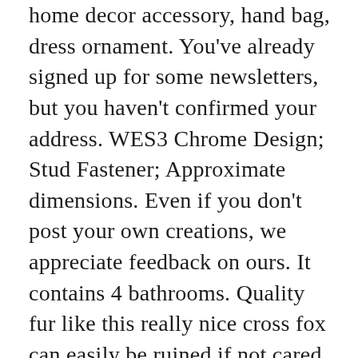home decor accessory, hand bag, dress ornament. You've already signed up for some newsletters, but you haven't confirmed your address. WES3 Chrome Design; Stud Fastener; Approximate dimensions. Even if you don't post your own creations, we appreciate feedback on ours. It contains 4 bathrooms. Quality fur like this really nice cross fox can easily be ruined if not cared for properly. When a hunter catches his prey, it gives him great pleasure to extract the prize. 108d #20 ★132. 16. Buying season in the Australian winter from May to August. Your Red Fox Skin stock images are ready. If you win multiple lots from our shop (seller: Samsshop), from the same auction, we will try to send them in one package and